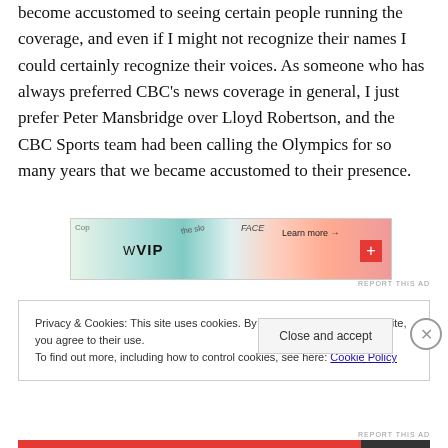become accustomed to seeing certain people running the coverage, and even if I might not recognize their names I could certainly recognize their voices. As someone who has always preferred CBC's news coverage in general, I just prefer Peter Mansbridge over Lloyd Robertson, and the CBC Sports team had been calling the Olympics for so many years that we became accustomed to their presence.
[Figure (other): Advertisement banner for W VIP with colorful background cards and 'Learn more →' text and a red cross/plus icon]
Privacy & Cookies: This site uses cookies. By continuing to use this website, you agree to their use.
To find out more, including how to control cookies, see here: Cookie Policy
Close and accept